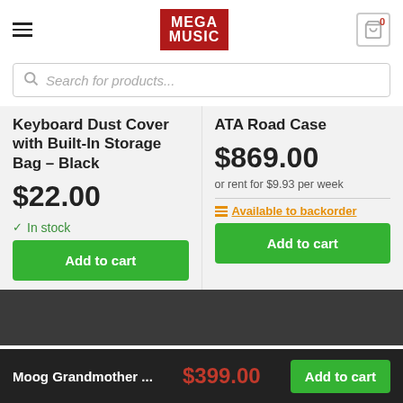[Figure (logo): Mega Music logo — white text on dark red background]
Search for products...
Keyboard Dust Cover with Built-In Storage Bag – Black
$22.00
In stock
Add to cart
ATA Road Case
$869.00
or rent for $9.93 per week
Available to backorder
Add to cart
Moog Grandmother ...
$399.00
Add to cart